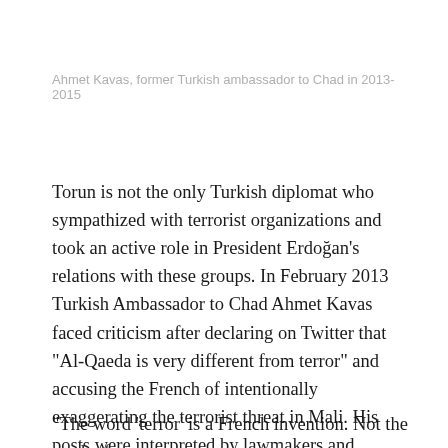Ahmet Kavas, former Turkish ambassador to Chad in 2013-2015
Torun is not the only Turkish diplomat who sympathized with terrorist organizations and took an active role in President Erdoğan's relations with these groups. In February 2013 Turkish Ambassador to Chad Ahmet Kavas faced criticism after declaring on Twitter that “Al-Qaeda is very different from terror” and accusing the French of intentionally exaggerating the terrorist threat in Mali. His posts were interpreted by lawmakers and journalists to mean that he viewed the global terror group as a legitimate resistance movement.
“The word ‘terror’ is a French invention. Not the work of